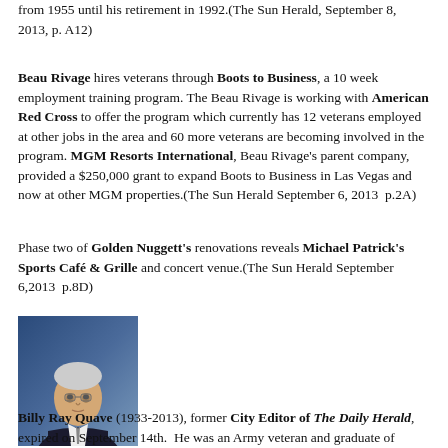from 1955 until his retirement in 1992.(The Sun Herald, September 8, 2013, p. A12)
Beau Rivage hires veterans through Boots to Business, a 10 week employment training program. The Beau Rivage is working with American Red Cross to offer the program which currently has 12 veterans employed at other jobs in the area and 60 more veterans are becoming involved in the program. MGM Resorts International, Beau Rivage's parent company, provided a $250,000 grant to expand Boots to Business in Las Vegas and now at other MGM properties.(The Sun Herald September 6, 2013  p.2A)
Phase two of Golden Nuggett's renovations reveals Michael Patrick's Sports Café & Grille and concert venue.(The Sun Herald September 6,2013  p.8D)
[Figure (photo): Portrait photo of Billy Ray Quave, an older man in a dark suit with a tie, against a blue background]
Billy Ray Quave (1933-2013), former City Editor of The Daily Herald, expired on September 14th.  He was an Army veteran and graduate of Biloxi High School, Perkinston JC, and USM.(The Sun Herald, September 17...